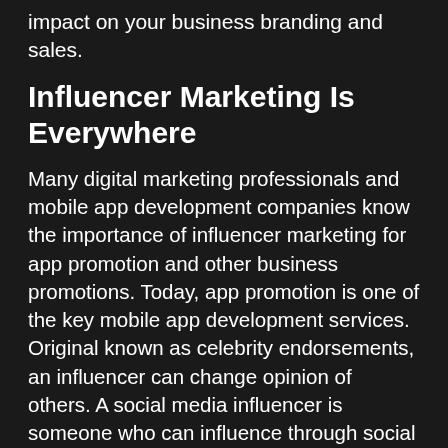impact on your business branding and sales.
Influencer Marketing Is Everywhere
Many digital marketing professionals and mobile app development companies know the importance of influencer marketing for app promotion and other business promotions. Today, app promotion is one of the key mobile app development services. Original known as celebrity endorsements, an influencer can change opinion of others. A social media influencer is someone who can influence through social media. In today’s digital age, YouTube Stars are born. Regular people have become social media “celebrities” with huge followers and powerfully engaged social media followings, especially in certain market segments. Influencer marketing has become more popular each month. It started with Facebook,